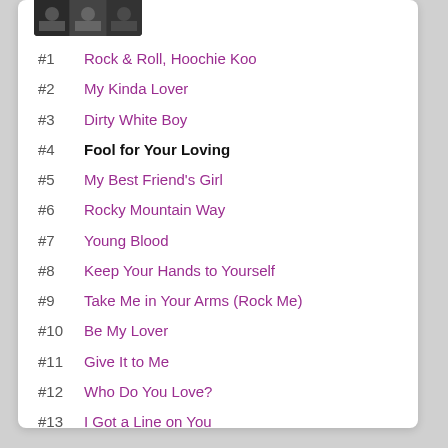[Figure (photo): Small thumbnail photo at top of card]
#1   Rock & Roll, Hoochie Koo
#2   My Kinda Lover
#3   Dirty White Boy
#4   Fool for Your Loving
#5   My Best Friend's Girl
#6   Rocky Mountain Way
#7   Young Blood
#8   Keep Your Hands to Yourself
#9   Take Me in Your Arms (Rock Me)
#10  Be My Lover
#11  Give It to Me
#12  Who Do You Love?
#13  I Got a Line on You
#14  Boom, Boom Out Goes the Lights